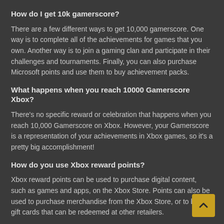How do I get 10k gamerscore?
There are a few different ways to get 10,000 gamerscore. One way is to complete all of the achievements for games that you own. Another way is to join a gaming clan and participate in their challenges and tournaments. Finally, you can also purchase Microsoft points and use them to buy achievement packs.
What happens when you reach 10000 Gamerscore Xbox?
There's no specific reward or celebration that happens when you reach 10,000 Gamerscore on Xbox. However, your Gamerscore is a representation of your achievements in Xbox games, so it's a pretty big accomplishment!
How do you use Xbox reward points?
Xbox reward points can be used to purchase digital content, such as games and apps, on the Xbox Store. Points can also be used to purchase merchandise from the Xbox Store, or to buy gift cards that can be redeemed at other retailers.